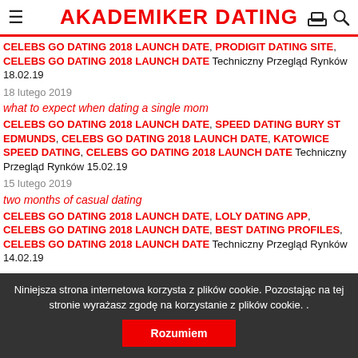AKADEMIKER DATING
CELEBS GO DATING 2018 LAUNCH DATE, PRODIGIT DATING SITE, CELEBS GO DATING 2018 LAUNCH DATE Techniczny Przegląd Rynków 18.02.19
18 lutego 2019
what to expect when dating a single mom
CELEBS GO DATING 2018 LAUNCH DATE, SPEED DATING BURY ST EDMUNDS, CELEBS GO DATING 2018 LAUNCH DATE, KATOWICE SPEED DATING, CELEBS GO DATING 2018 LAUNCH DATE Techniczny Przegląd Rynków 15.02.19
15 lutego 2019
two months of casual dating
CELEBS GO DATING 2018 LAUNCH DATE, LOLY DATING APP, CELEBS GO DATING 2018 LAUNCH DATE, BEST DATING PROFILES, CELEBS GO DATING 2018 LAUNCH DATE Techniczny Przegląd Rynków 14.02.19
Niniejsza strona internetowa korzysta z plików cookie. Pozostając na tej stronie wyrażasz zgodę na korzystanie z plików cookie. .
Rozumiem